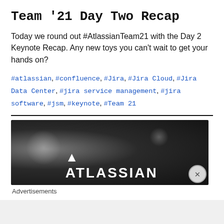Team '21 Day Two Recap
Today we round out #AtlassianTeam21 with the Day 2 Keynote Recap. Any new toys you can't wait to get your hands on?
#atlassian, #confluence, #Jira, #Jira Cloud, #Jira Data Center, #jira service management, #jira software, #jsm, #keynote, #Team 21
[Figure (screenshot): Dark advertisement banner with Atlassian branding logo text on dark background with light glows]
Advertisements